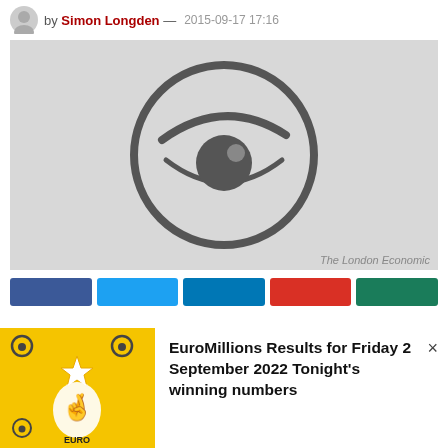by Simon Longden — 2015-09-17 17:16
[Figure (illustration): Grey placeholder image with a stylized eye icon (circle with eyebrow arc and iris) centered on a light grey background]
The London Economic
[Figure (infographic): Social sharing buttons row: Facebook (blue), Twitter (cyan), LinkedIn (blue), Reddit (red), WhatsApp (green)]
[Figure (infographic): EuroMillions advertisement overlay with yellow background, lottery logo with crossed fingers and stars, and text: EuroMillions Results for Friday 2 September 2022 Tonight's winning numbers, with close (×) button]